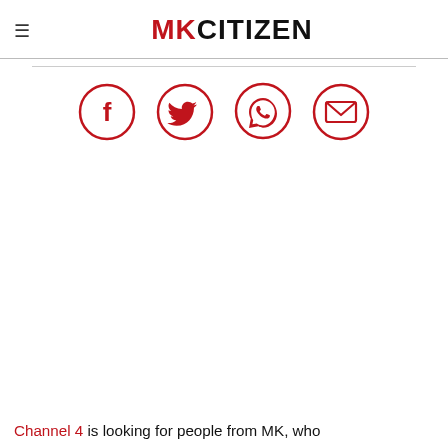MK CITIZEN
[Figure (infographic): Four red circular social media/share icons: Facebook (f), Twitter (bird), WhatsApp (phone/chat), Email (envelope)]
Channel 4 is looking for people from MK, who